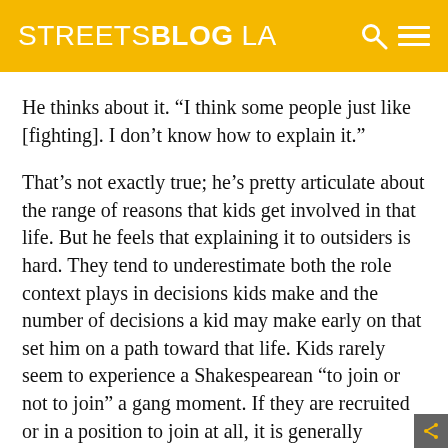STREETSBLOG LA
He thinks about it. “I think some people just like [fighting]. I don’t know how to explain it.”
That’s not exactly true; he’s pretty articulate about the range of reasons that kids get involved in that life. But he feels that explaining it to outsiders is hard. They tend to underestimate both the role context plays in decisions kids make and the number of decisions a kid may make early on that set him on a path toward that life. Kids rarely seem to experience a Shakespearean “to join or not to join” a gang moment. If they are recruited or in a position to join at all, it is generally because a number of events, actions, and circumstances have brought them to the